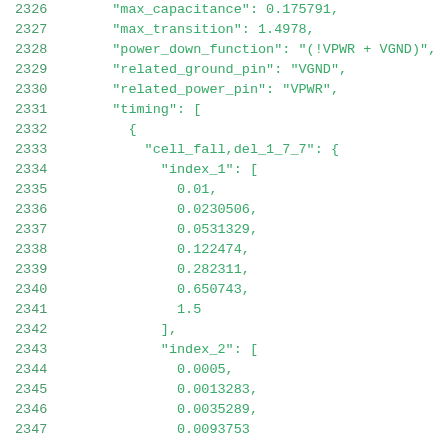2326    "max_capacitance": 0.175791,
2327    "max_transition": 1.4978,
2328    "power_down_function": "(!VPWR + VGND)",
2329    "related_ground_pin": "VGND",
2330    "related_power_pin": "VPWR",
2331    "timing": [
2332      {
2333        "cell_fall,del_1_7_7": {
2334          "index_1": [
2335            0.01,
2336            0.0230506,
2337            0.0531329,
2338            0.122474,
2339            0.282311,
2340            0.650743,
2341            1.5
2342          ],
2343          "index_2": [
2344            0.0005,
2345            0.0013283,
2346            0.0035289,
2347            0.0093753